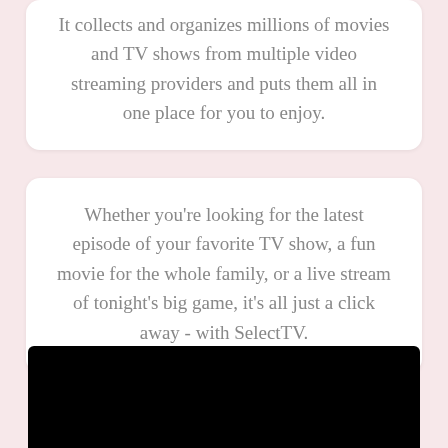It collects and organizes millions of movies and TV shows from multiple video streaming providers and puts them all in one place for you to enjoy.
Whether you're looking for the latest episode of your favorite TV show, a fun movie for the whole family, or a live stream of tonight's big game, it's all just a click away - with SelectTV.
[Figure (photo): A black rectangle at the bottom of the page, representing a video/screen element.]